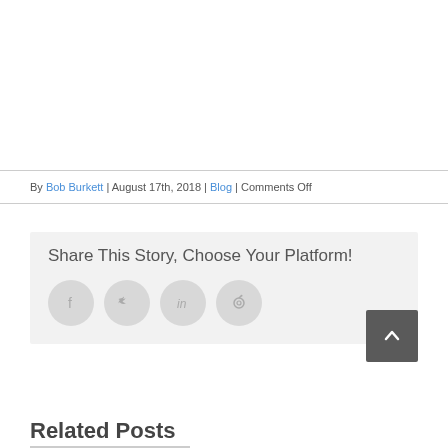By Bob Burkett | August 17th, 2018 | Blog | Comments Off
Share This Story, Choose Your Platform!
[Figure (infographic): Social sharing icons: Facebook, Twitter, LinkedIn, Pinterest in grey circles]
Related Posts